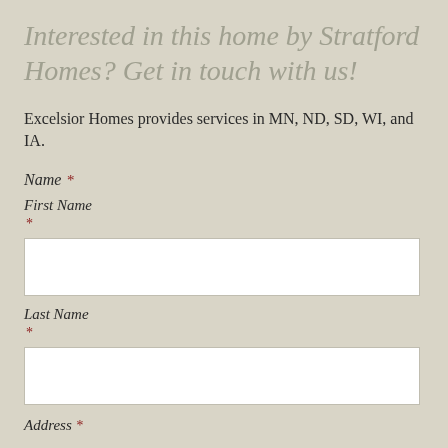Interested in this home by Stratford Homes? Get in touch with us!
Excelsior Homes provides services in MN, ND, SD, WI, and IA.
Name *
First Name *
Last Name *
Address *